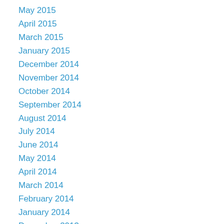May 2015
April 2015
March 2015
January 2015
December 2014
November 2014
October 2014
September 2014
August 2014
July 2014
June 2014
May 2014
April 2014
March 2014
February 2014
January 2014
December 2013
October 2013
September 2013
August 2013